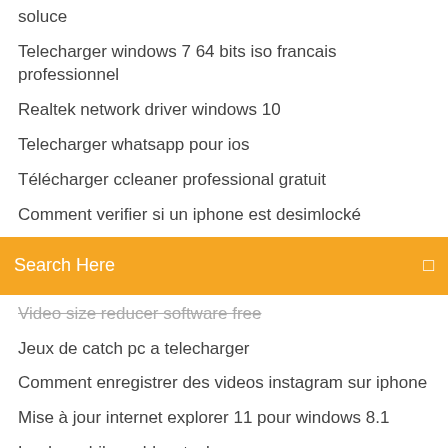soluce
Telecharger windows 7 64 bits iso francais professionnel
Realtek network driver windows 10
Telecharger whatsapp pour ios
Télécharger ccleaner professional gratuit
Comment verifier si un iphone est desimlocké
[Figure (screenshot): Orange search bar with text 'Search Here' and a search icon on the right]
Video size reducer software free
Jeux de catch pc a telecharger
Comment enregistrer des videos instagram sur iphone
Mise à jour internet explorer 11 pour windows 8.1
Lords mobile pc bluestacks
How to scan to ipad from hp envy 4500
Emsisoft anti-malware for android
Application météo france android
Free pdf writer app
Internet explorer 64 bits windows 8
Forge horizon 4 pc demo crash